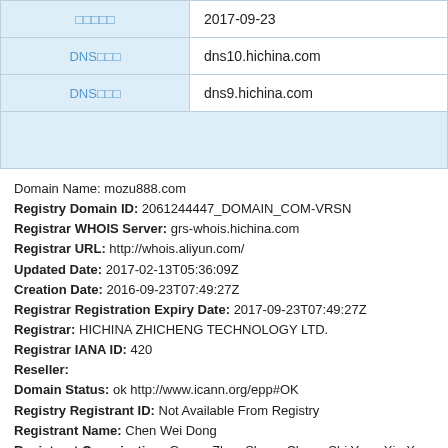| □□□□□ | 2017-09-23 |
| DNS□□□ | dns10.hichina.com |
| DNS□□□ | dns9.hichina.com |
|  |  |
Domain Name: mozu888.com
Registry Domain ID: 2061244447_DOMAIN_COM-VRSN
Registrar WHOIS Server: grs-whois.hichina.com
Registrar URL: http://whois.aliyun.com/
Updated Date: 2017-02-13T05:36:09Z
Creation Date: 2016-09-23T07:49:27Z
Registrar Registration Expiry Date: 2017-09-23T07:49:27Z
Registrar: HICHINA ZHICHENG TECHNOLOGY LTD.
Registrar IANA ID: 420
Reseller:
Domain Status: ok http://www.icann.org/epp#OK
Registry Registrant ID: Not Available From Registry
Registrant Name: Chen Wei Dong
Registrant Organization: Guang Zhou Shang Cheng Shi Yuan Xin X
Registrant Street: Tian He Qu Jin Sui Lu 1Hao 1605Zhi 715
Registrant City: guang zhou shi
Registrant State/Province: guang dong
Registrant Postal Code: 100000
Registrant Country: CN